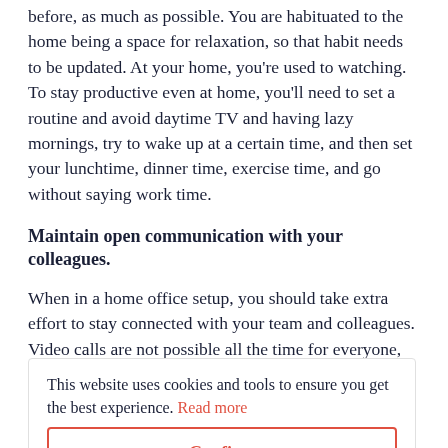before, as much as possible. You are habituated to the home being a space for relaxation, so that habit needs to be updated. At your home, you're used to watching. To stay productive even at home, you'll need to set a routine and avoid daytime TV and having lazy mornings, try to wake up at a certain time, and then set your lunchtime, dinner time, exercise time, and go without saying work time.
Maintain open communication with your colleagues.
When in a home office setup, you should take extra effort to stay connected with your team and colleagues. Video calls are not possible all the time for everyone, but sometimes, it is worth the benefit of seeing your colleagues and having both face-to-face interaction discussions. Or you can also use for sharing presentations, documents, or resources. Instant messaging is another good option for quick communication that needs an immediate response.
Regulate yourself for motivation.
This website uses cookies and tools to ensure you get the best experience. Read more
Confirm